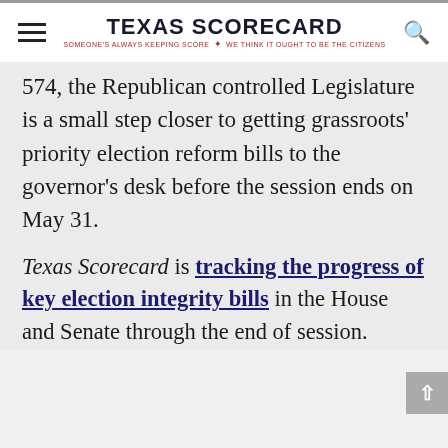TEXAS SCORECARD — SOMEONE'S ALWAYS KEEPING SCORE — WE THINK IT OUGHT TO BE THE CITIZENS
574, the Republican controlled Legislature is a small step closer to getting grassroots' priority election reform bills to the governor's desk before the session ends on May 31.
Texas Scorecard is tracking the progress of key election integrity bills in the House and Senate through the end of session.